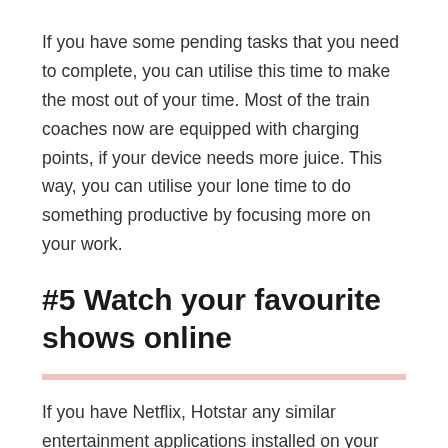If you have some pending tasks that you need to complete, you can utilise this time to make the most out of your time. Most of the train coaches now are equipped with charging points, if your device needs more juice. This way, you can utilise your lone time to do something productive by focusing more on your work.
#5 Watch your favourite shows online
If you have Netflix, Hotstar any similar entertainment applications installed on your mobile devices, you can play your favourite TV Shows and movies online. Please note that you might run out of your batteries when your